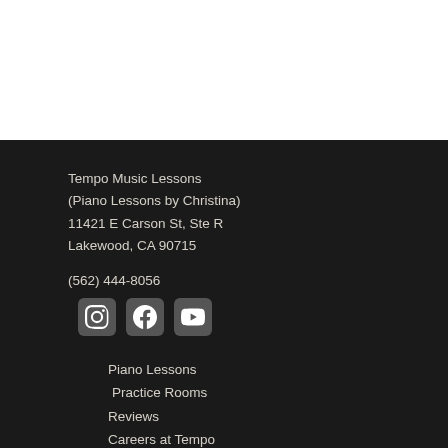Tempo Music Lessons
(Piano Lessons by Christina)
11421 E Carson St, Ste R
Lakewood, CA 90715
(562) 444-8056
[Figure (other): Social media icons: Instagram, Facebook, YouTube]
Piano Lessons
Practice Rooms
Reviews
Careers at Tempo
Blog
Student Log In
Sheet Music
Resources